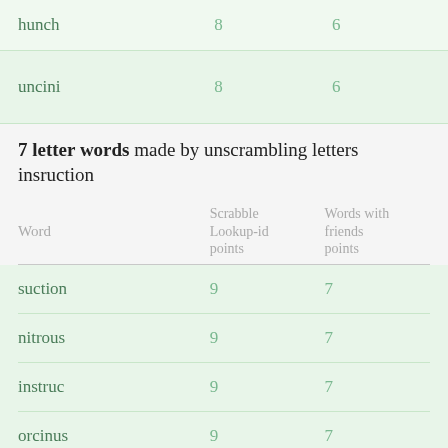| Word | Scrabble Lookup-id points | Words with friends points |
| --- | --- | --- |
| hunch | 8 | 6 |
| uncini | 8 | 6 |
7 letter words made by unscrambling letters insruction
| Word | Scrabble Lookup-id points | Words with friends points |
| --- | --- | --- |
| suction | 9 | 7 |
| nitrous | 9 | 7 |
| instruc | 9 | 7 |
| orcinus | 9 | 7 |